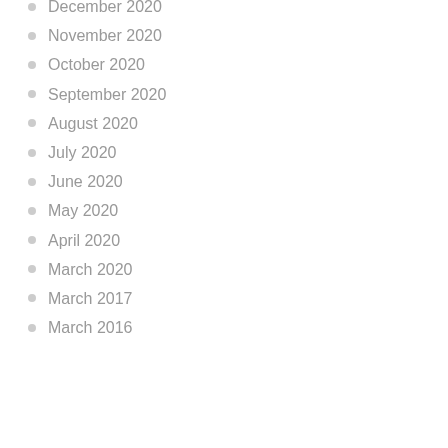December 2020
November 2020
October 2020
September 2020
August 2020
July 2020
June 2020
May 2020
April 2020
March 2020
March 2017
March 2016